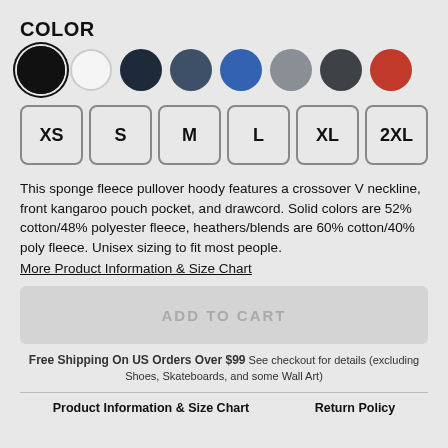COLOR
[Figure (other): Color swatches: black (selected, with ring), white, navy, slate blue, royal blue, gray, dark gray, red]
[Figure (other): Size selector buttons: XS, S, M, L, XL, 2XL]
This sponge fleece pullover hoody features a crossover V neckline, front kangaroo pouch pocket, and drawcord. Solid colors are 52% cotton/48% polyester fleece, heathers/blends are 60% cotton/40% poly fleece. Unisex sizing to fit most people.
More Product Information & Size Chart
ADD TO CART
Free Shipping On US Orders Over $99 See checkout for details (excluding Shoes, Skateboards, and some Wall Art)
Product Information & Size Chart    Return Policy